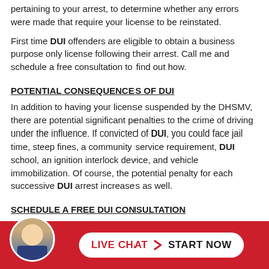pertaining to your arrest, to determine whether any errors were made that require your license to be reinstated.
First time DUI offenders are eligible to obtain a business purpose only license following their arrest.  Call me and schedule a free consultation to find out how.
POTENTIAL CONSEQUENCES OF DUI
In addition to having your license suspended by the DHSMV, there are potential significant penalties to the crime of driving under the influence. If convicted of DUI, you could face jail time, steep fines, a community service requirement, DUI school, an ignition interlock device, and vehicle immobilization. Of course, the potential penalty for each successive DUI arrest increases as well.
SCHEDULE A FREE DUI CONSULTATION
A DUI charge in Florida can be proven by either showing that [person]'s br…
[Figure (photo): Headshot of a man in a suit, circular avatar in the footer bar]
[Figure (infographic): Red footer bar with LIVE CHAT > START NOW button in white rounded rectangle]